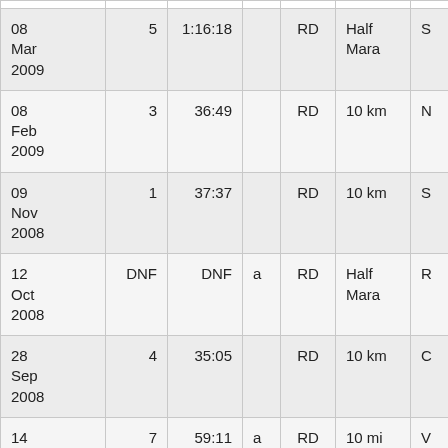| Date | Pos | Time |  | Type | Distance |  |
| --- | --- | --- | --- | --- | --- | --- |
| 08 Mar 2009 | 5 | 1:16:18 |  | RD | Half Mara | S... |
| 08 Feb 2009 | 3 | 36:49 |  | RD | 10 km | N... |
| 09 Nov 2008 | 1 | 37:37 |  | RD | 10 km | S... |
| 12 Oct 2008 | DNF | DNF | a | RD | Half Mara | R... |
| 28 Sep 2008 | 4 | 35:05 |  | RD | 10 km | C... |
| 14 Sep 2008 | 7 | 59:11 | a | RD | 10 mi | V... |